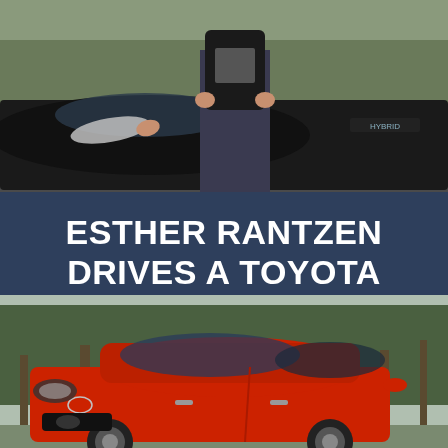[Figure (photo): Woman in black jacket standing beside a black Toyota Prius hybrid car, viewed from the front/side, outdoors with trees in background.]
ESTHER RANTZEN DRIVES A TOYOTA PRIUS
[Figure (photo): Red Toyota Yaris compact car parked outdoors with pine trees in the background.]